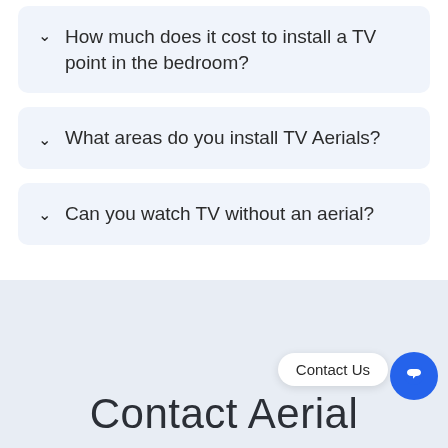How much does it cost to install a TV point in the bedroom?
What areas do you install TV Aerials?
Can you watch TV without an aerial?
Contact Aerial